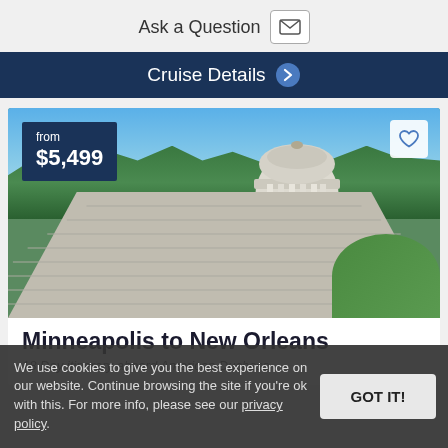Ask a Question
Cruise Details
[Figure (photo): Photograph of a classical stone monument with columns and steps, surrounded by green lawn and trees under a blue sky. Shows grand staircase leading up to a circular columned structure.]
Minneapolis to New Orleans
18 Day itinerary aboard American Duchess
We use cookies to give you the best experience on our website. Continue browsing the site if you're ok with this. For more info, please see our privacy policy.
Discover St. Louis, Missouri